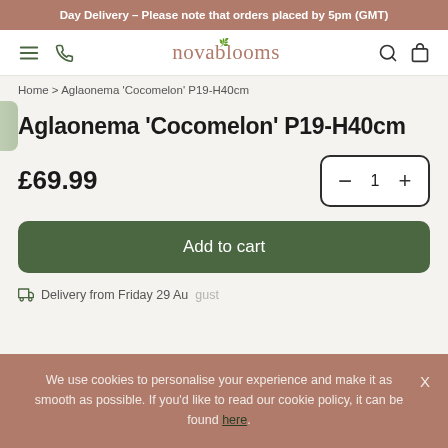Day Delivery - Please note that orders placed by 5pm (GMT)
[Figure (screenshot): Novablooms website navigation bar with hamburger menu, phone icon, logo, search and bag icons]
Home > Aglaonema 'Cocomelon' P19-H40cm
Aglaonema 'Cocomelon' P19-H40cm
£69.99
Add to cart
Delivery from Friday 29 August
We use cookies to personalise your experience and make it as smooth as possible. If you'd like to read our cookie policy, it can be found here.